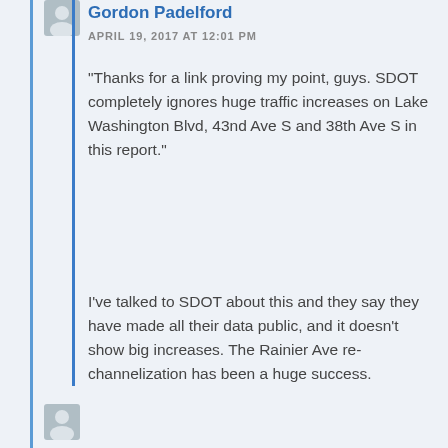Gordon Padelford
APRIL 19, 2017 AT 12:01 PM
“Thanks for a link proving my point, guys. SDOT completely ignores huge traffic increases on Lake Washington Blvd, 43nd Ave S and 38th Ave S in this report.”
I’ve talked to SDOT about this and they say they have made all their data public, and it doesn’t show big increases. The Rainier Ave re-channelization has been a huge success.